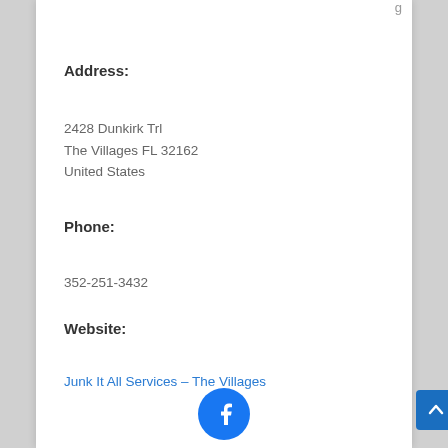Address:
2428 Dunkirk Trl
The Villages FL 32162
United States
Phone:
352-251-3432
Website:
Junk It All Services – The Villages
[Figure (logo): Facebook logo icon - blue circle with white F]